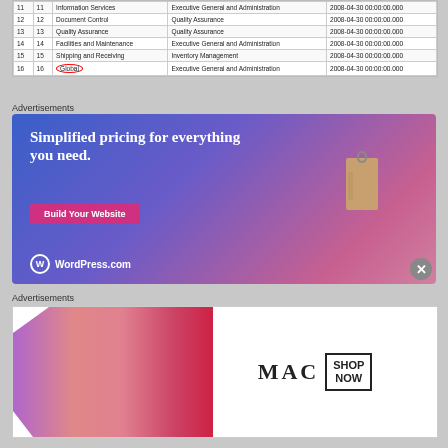|  |  | Name | Group Name | Date Modified |
| --- | --- | --- | --- | --- |
| 11 | 11 | Information Services | Executive General and Administration | 2008-04-30 00:00:00.000 |
| 12 | 12 | Document Control | Quality Assurance | 2008-04-30 00:00:00.000 |
| 13 | 13 | Quality Assurance | Quality Assurance | 2008-04-30 00:00:00.000 |
| 14 | 14 | Facilities and Maintenance | Executive General and Administration | 2008-04-30 00:00:00.000 |
| 15 | 15 | Shipping and Receiving | Inventory Management | 2008-04-30 00:00:00.000 |
| 16 | 16 | Global | Executive General and Administration | 2008-04-30 00:00:00.000 |
Advertisements
[Figure (illustration): WordPress.com advertisement: 'Simplified pricing for everything you need.' with a Build Your Website button, price tag graphic, and WordPress.com logo on a blue-to-pink gradient background.]
Advertisements
[Figure (illustration): MAC cosmetics advertisement showing lipsticks on the left and the MAC logo with a SHOP NOW box on the right.]